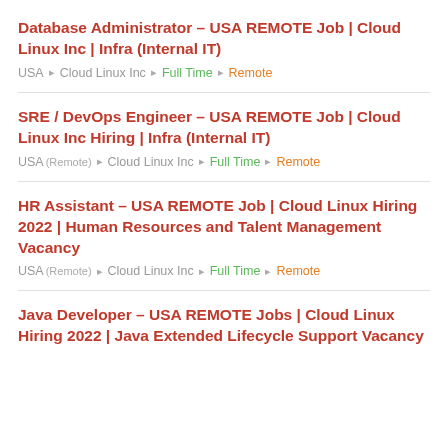Database Administrator – USA REMOTE Job | Cloud Linux Inc | Infra (Internal IT)
SRE / DevOps Engineer – USA REMOTE Job | Cloud Linux Inc Hiring | Infra (Internal IT)
HR Assistant – USA REMOTE Job | Cloud Linux Hiring 2022 | Human Resources and Talent Management Vacancy
Java Developer – USA REMOTE Jobs | Cloud Linux Hiring 2022 | Java Extended Lifecycle Support Vacancy